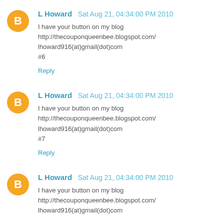L Howard  Sat Aug 21, 04:34:00 PM 2010
I have your button on my blog http://thecouponqueenbee.blogspot.com/
lhoward916(at)gmail(dot)com
#6
Reply
L Howard  Sat Aug 21, 04:34:00 PM 2010
I have your button on my blog http://thecouponqueenbee.blogspot.com/
lhoward916(at)gmail(dot)com
#7
Reply
L Howard  Sat Aug 21, 04:34:00 PM 2010
I have your button on my blog http://thecouponqueenbee.blogspot.com/
lhoward916(at)gmail(dot)com